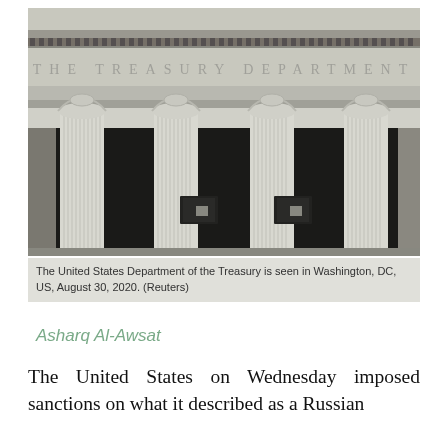[Figure (photo): The United States Department of the Treasury building in Washington DC, showing classical columns and the inscription 'THE TREASURY DEPARTMENT' on the facade.]
The United States Department of the Treasury is seen in Washington, DC, US, August 30, 2020. (Reuters)
Asharq Al-Awsat
The United States on Wednesday imposed sanctions on what it described as a Russian